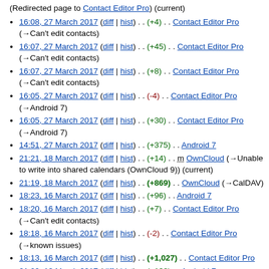(Redirected page to Contact Editor Pro) (current)
16:08, 27 March 2017 (diff | hist) . . (+4) . . Contact Editor Pro (→Can't edit contacts)
16:07, 27 March 2017 (diff | hist) . . (+45) . . Contact Editor Pro (→Can't edit contacts)
16:07, 27 March 2017 (diff | hist) . . (+8) . . Contact Editor Pro (→Can't edit contacts)
16:05, 27 March 2017 (diff | hist) . . (-4) . . Contact Editor Pro (→Android 7)
16:05, 27 March 2017 (diff | hist) . . (+30) . . Contact Editor Pro (→Android 7)
14:51, 27 March 2017 (diff | hist) . . (+375) . . Android 7
21:21, 18 March 2017 (diff | hist) . . (+14) . . m OwnCloud (→Unable to write into shared calendars (OwnCloud 9)) (current)
21:19, 18 March 2017 (diff | hist) . . (+869) . . OwnCloud (→CalDAV)
18:23, 16 March 2017 (diff | hist) . . (+96) . . Android 7
18:20, 16 March 2017 (diff | hist) . . (+7) . . Contact Editor Pro (→Can't edit contacts)
18:18, 16 March 2017 (diff | hist) . . (-2) . . Contact Editor Pro (→known issues)
18:13, 16 March 2017 (diff | hist) . . (+1,027) . . Contact Editor Pro
21:09, 13 March 2017 (diff | hist) . . (+138) . . Android 7